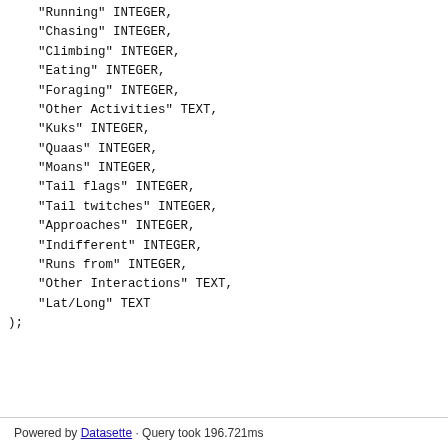"Running" INTEGER,
    "Chasing" INTEGER,
    "Climbing" INTEGER,
    "Eating" INTEGER,
    "Foraging" INTEGER,
    "Other Activities" TEXT,
    "Kuks" INTEGER,
    "Quaas" INTEGER,
    "Moans" INTEGER,
    "Tail flags" INTEGER,
    "Tail twitches" INTEGER,
    "Approaches" INTEGER,
    "Indifferent" INTEGER,
    "Runs from" INTEGER,
    "Other Interactions" TEXT,
    "Lat/Long" TEXT
);
Powered by Datasette · Query took 196.721ms